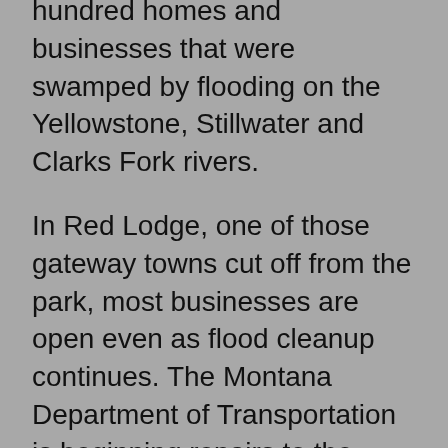hundred homes and businesses that were swamped by flooding on the Yellowstone, Stillwater and Clarks Fork rivers.
In Red Lodge, one of those gateway towns cut off from the park, most businesses are open even as flood cleanup continues. The Montana Department of Transportation is beginning repairs to the road between Red Lodge and the scenic Beartooth Highway and the National Park Service is working to restore access to some areas in the northern part of the park.
“We have to remain optimistic, but we also have to remain realistic that there’s a lot of things going on and a lot of moving pieces to make it happen,” said Tim Weamer, who does marketing for the Red Lodge Chamber of Commerce.
“We’re optimistic that we’ll survive,” he said. “We’re